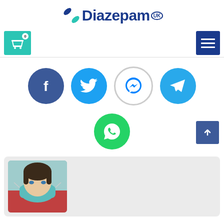[Figure (logo): Diazepam UK logo with pill icon and bold navy text]
[Figure (infographic): Navigation bar with teal shopping cart (badge:0) and navy hamburger menu button]
[Figure (infographic): Row of social media icons: Facebook (blue), Twitter (blue), Messenger (white circle), Telegram (light blue)]
[Figure (infographic): WhatsApp green circle icon below the main social row, with navy scroll-to-top arrow button on right]
[Figure (photo): Photo of a female healthcare worker wearing a surgical mask and red outfit, partial view in a light gray card]